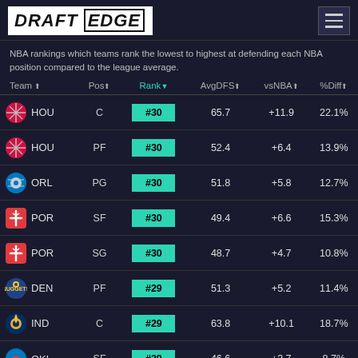[Figure (logo): Draft Edge logo - white background with bold italic text DRAFT EDGE]
NBA rankings which teams rank the lowest to highest at defending each NBA position compared to the league average.
| Team | Pos | Rank | AvgDFS | vsNBA | %Diff |
| --- | --- | --- | --- | --- | --- |
| HOU | C | #30 | 65.7 | +11.9 | 22.1% |
| HOU | PF | #30 | 52.4 | +6.4 | 13.9% |
| ORL | PG | #30 | 51.8 | +5.8 | 12.7% |
| POR | SF | #30 | 49.4 | +6.6 | 15.3% |
| POR | SG | #30 | 48.7 | +4.7 | 10.8% |
| DEN | PF | #29 | 51.3 | +5.2 | 11.4% |
| IND | C | #29 | 63.8 | +10.1 | 18.7% |
| OKL | SF | #29 | 46.6 | +3.7 | 8.7% |